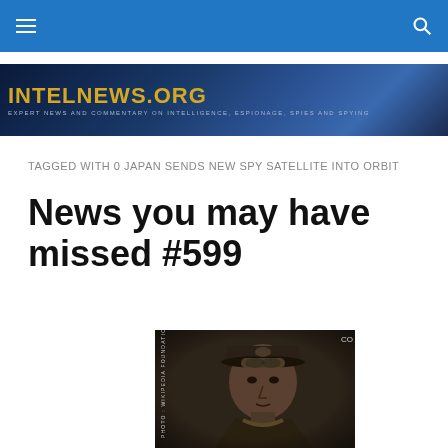intelnews.org navigation bar
[Figure (illustration): intelnews.org website banner with gold bold title text 'INTELNEWS.ORG' and subtitle 'EXPERT NEWS AND COMMENTARY ON INTELLIGENCE, ESPIONAGE, SPIES AND SPYING' on a dark blue background with silhouette of a figure]
TAGGED WITH 0 JAPAN SENDS NEW SPY SATELLITE INTO ORBIT
News you may have missed #599
[Figure (photo): Sepia-toned black and white photograph of a military officer wearing a peaked cap with eagle insignia and goggles, in uniform. Side text reads 'PHOTO: WIKIPEDIA FOUNDATION' and top right corner shows 'CO'.]